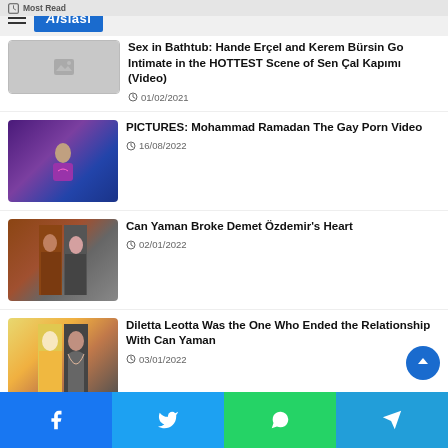Most Read — Alsiasi
Sex in Bathtub: Hande Erçel and Kerem Bürsin Go Intimate in the HOTTEST Scene of Sen Çal Kapımı (Video) — 01/02/2021
PICTURES: Mohammad Ramadan The Gay Porn Video — 16/08/2022
Can Yaman Broke Demet Özdemir's Heart — 02/01/2022
Diletta Leotta Was the One Who Ended the Relationship With Can Yaman — 03/01/2022